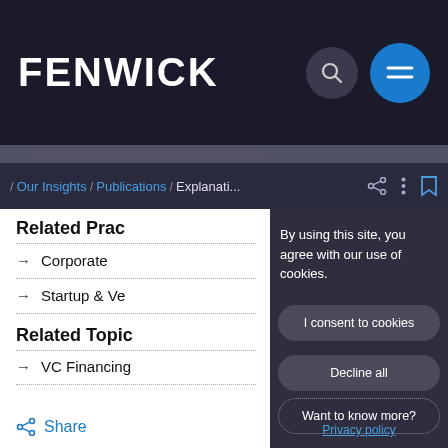FENWICK
/ Our Insights / Publications / Explanati...
Related Prac
→ Corporate
→ Startup & Ve
Related Topic
→ VC Financing
By using this site, you agree with our use of cookies.
I consent to cookies
Decline all
Want to know more?
Privacy policy
Share